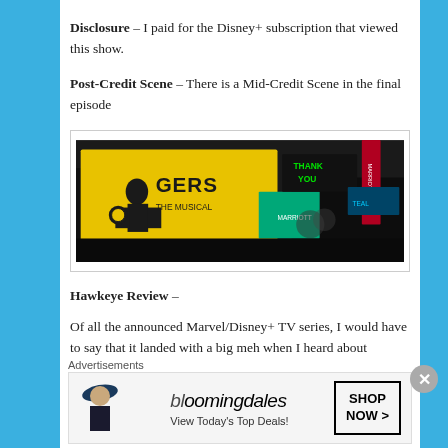Disclosure – I paid for the Disney+ subscription that viewed this show.
Post-Credit Scene – There is a Mid-Credit Scene in the final episode
[Figure (photo): Times Square at night with a Rogers: The Musical billboard featuring Captain America silhouette (yellow background), neon signs including 'THANK YOU' in green, and other colorful billboard advertisements.]
Hawkeye Review –
Of all the announced Marvel/Disney+ TV series, I would have to say that it landed with a big meh when I heard about Hawkeye. Hawkeye as a character has always
Advertisements
[Figure (other): Bloomingdale's advertisement banner: 'View Today's Top Deals!' with 'SHOP NOW >' button and image of woman in hat.]